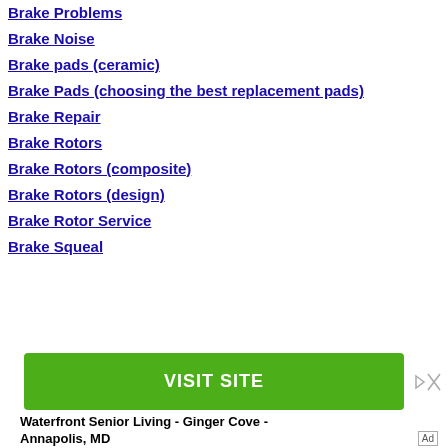Brake Problems
Brake Noise
Brake pads (ceramic)
Brake Pads (choosing the best replacement pads)
Brake Repair
Brake Rotors
Brake Rotors (composite)
Brake Rotors (design)
Brake Rotor Service
Brake Squeal
[Figure (other): Advertisement banner with green VISIT SITE button and text 'Waterfront Senior Living - Ginger Cove - Annapolis, MD']